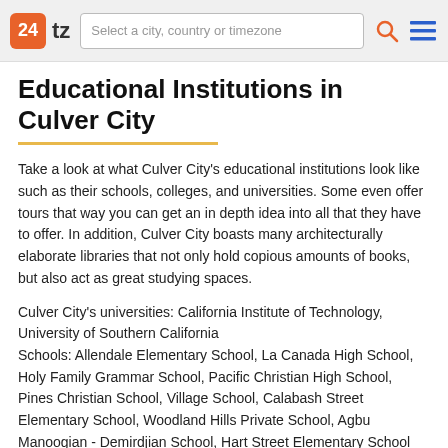24 tz | Select a city, country or timezone
Educational Institutions in Culver City
Take a look at what Culver City's educational institutions look like such as their schools, colleges, and universities. Some even offer tours that way you can get an in depth idea into all that they have to offer. In addition, Culver City boasts many architecturally elaborate libraries that not only hold copious amounts of books, but also act as great studying spaces.
Culver City's universities: California Institute of Technology, University of Southern California
Schools: Allendale Elementary School, La Canada High School, Holy Family Grammar School, Pacific Christian High School, Pines Christian School, Village School, Calabash Street Elementary School, Woodland Hills Private School, Agbu Manoogian - Demirdjian School, Hart Street Elementary School
Libraries: Coe Memorial Library, Los Angeles öffentliche Hauptbibliothek, Von Der Ahe Library, Martin Luther King